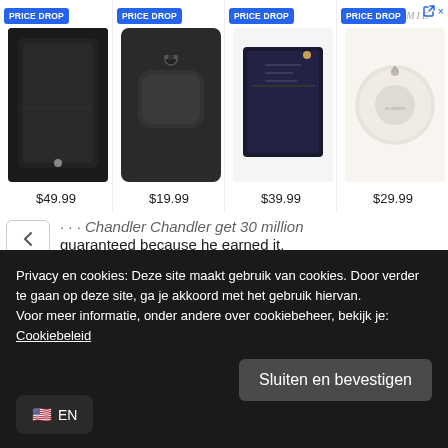[Figure (screenshot): Advertisement banner with 4 products each labeled PRICE DROP. Products: phone case $49.99, AirPods case $19.99, wallet $39.99, round coin purse $29.99. NOEMIE brand logo top right.]
guaranteed because he earned it.
Considering it's very realistic Perry stays 2 years, that's 27 mill coming in, Not bad money for 1 season of 11 sacks.
It's an insult to Chandler to compare his stats with Perry's, but both have been in the league 5 years.
Privacy en cookies: Deze site maakt gebruik van cookies. Door verder te gaan op deze site, ga je akkoord met het gebruik hiervan.
Voor meer informatie, onder andere over cookiebeheer, bekijk je:
Cookiebeleid
Sluiten en bevestigen
EN